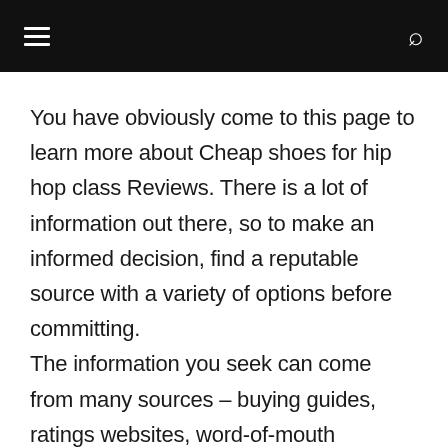≡  🔍
You have obviously come to this page to learn more about Cheap shoes for hip hop class Reviews. There is a lot of information out there, so to make an informed decision, find a reputable source with a variety of options before committing.
The information you seek can come from many sources – buying guides, ratings websites, word-of-mouth recommendations, online forums where users give their personal experiences, independent product reviews found throughout